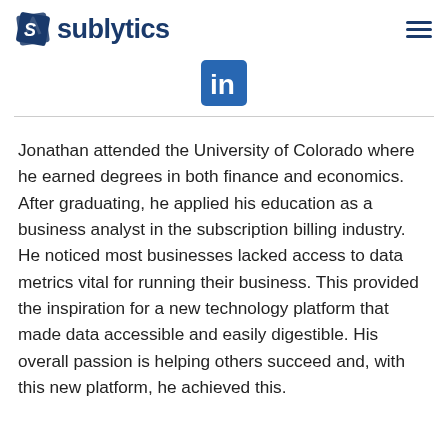sublytics
[Figure (logo): LinkedIn icon - blue rounded square with white 'in' text]
Jonathan attended the University of Colorado where he earned degrees in both finance and economics. After graduating, he applied his education as a business analyst in the subscription billing industry. He noticed most businesses lacked access to data metrics vital for running their business. This provided the inspiration for a new technology platform that made data accessible and easily digestible. His overall passion is helping others succeed and, with this new platform, he achieved this.